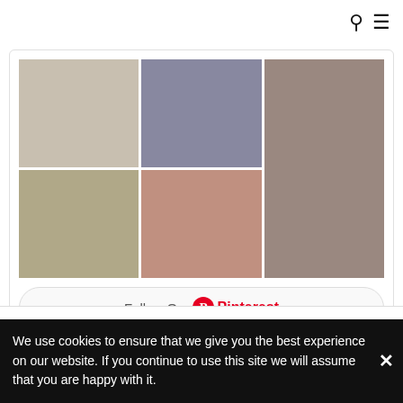[Figure (photo): Pinterest widget with a 2x3 grid of design/furniture photos including chairs, workshop spaces, and craft details, with a 'Follow On Pinterest' button below]
Recent Posts
Salone Satelli…
Open Sky: A Collaboration Between COS and…
We use cookies to ensure that we give you the best experience on our website. If you continue to use this site we will assume that you are happy with it.